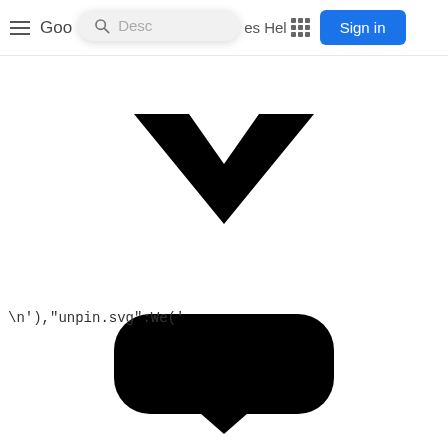[Figure (screenshot): Google-style navigation bar with hamburger menu, partial brand name 'Goo', search box with 'Desc' placeholder, partial nav links 'es Hel' with grid icon, and blue 'Sign in' button]
[Figure (illustration): Large black chevron/checkmark down-arrow icon in center of page]
\n'),"unpin.svg":We('
[Figure (illustration): Partial black rounded-rectangle pin/map-marker icon visible at bottom of page]